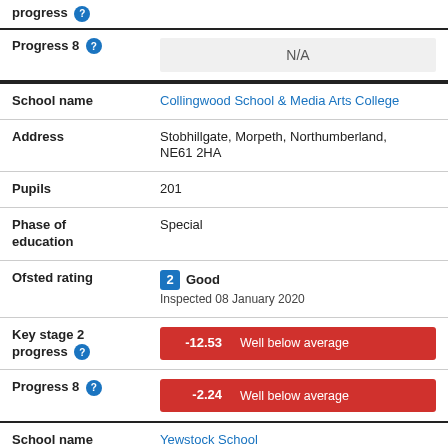progress
| Field | Value |
| --- | --- |
| Progress 8 | N/A |
| School name | Collingwood School & Media Arts College |
| Address | Stobhillgate, Morpeth, Northumberland, NE61 2HA |
| Pupils | 201 |
| Phase of education | Special |
| Ofsted rating | 2 Good
Inspected 08 January 2020 |
| Key stage 2 progress | -12.53 Well below average |
| Progress 8 | -2.24 Well below average |
| School name | Yewstock School |